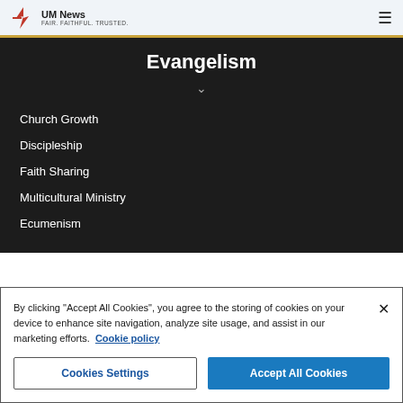UM News FAIR. FAITHFUL. TRUSTED.
Evangelism
Church Growth
Discipleship
Faith Sharing
Multicultural Ministry
Ecumenism
By clicking "Accept All Cookies", you agree to the storing of cookies on your device to enhance site navigation, analyze site usage, and assist in our marketing efforts. Cookie policy
Cookies Settings | Accept All Cookies